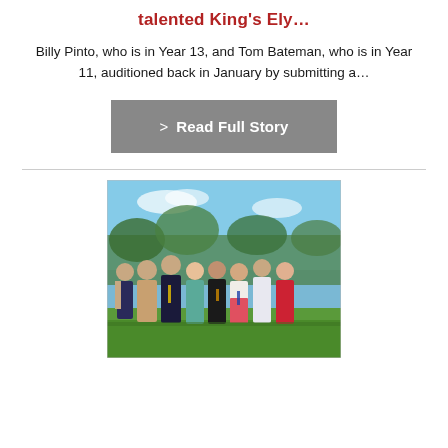talented King's Ely…
Billy Pinto, who is in Year 13, and Tom Bateman, who is in Year 11, auditioned back in January by submitting a…
> Read Full Story
[Figure (photo): Group photo of approximately 8 people standing outdoors on grass with trees and blue sky in the background, at a school or educational setting.]